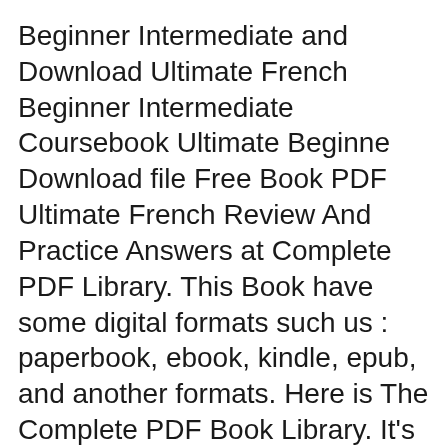Beginner Intermediate and Download Ultimate French Beginner Intermediate Coursebook Ultimate Beginne Download file Free Book PDF Ultimate French Review And Practice Answers at Complete PDF Library. This Book have some digital formats such us : paperbook, ebook, kindle, epub, and another formats. Here is The Complete PDF Book Library. It's free to register here to get Book file PDF Ultimate French Review And Practice Answers. Amazon com Ultimate French Beginner Intermediate вЂ¦
Download file Free Book PDF Ultimate French Review And Practice Answers at Complete PDF Library. This Book have